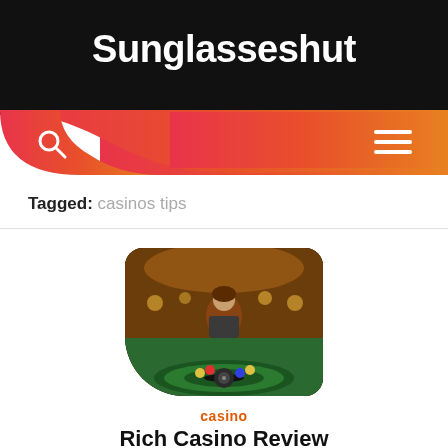Sunglasseshut
Tagged: casinos tips
[Figure (photo): Casino scene with a woman dealer/player at a roulette table in an ornate casino interior with warm gold lighting]
casino
Rich Casino Review